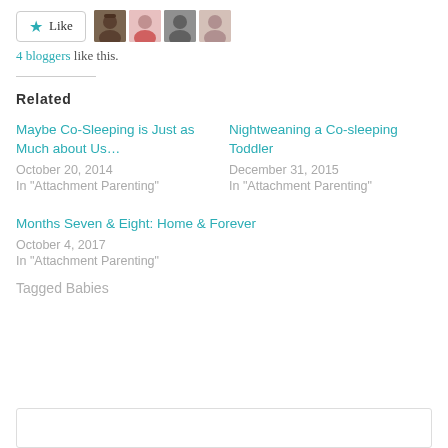[Figure (other): Like button with star icon and 4 blogger avatar thumbnails]
4 bloggers like this.
Related
Maybe Co-Sleeping is Just as Much about Us…
October 20, 2014
In "Attachment Parenting"
Nightweaning a Co-sleeping Toddler
December 31, 2015
In "Attachment Parenting"
Months Seven & Eight: Home & Forever
October 4, 2017
In "Attachment Parenting"
Tagged Babies
[Figure (other): Comment input box]